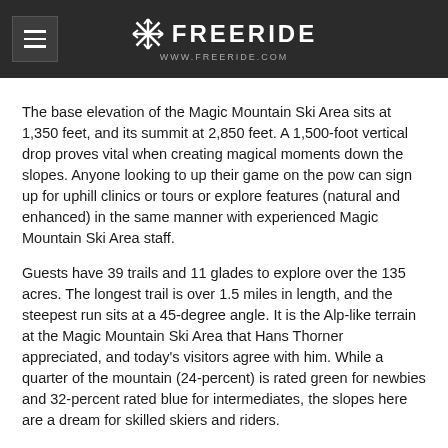FREERIDE www.freeride.com
The base elevation of the Magic Mountain Ski Area sits at 1,350 feet, and its summit at 2,850 feet. A 1,500-foot vertical drop proves vital when creating magical moments down the slopes. Anyone looking to up their game on the pow can sign up for uphill clinics or tours or explore features (natural and enhanced) in the same manner with experienced Magic Mountain Ski Area staff.
Guests have 39 trails and 11 glades to explore over the 135 acres. The longest trail is over 1.5 miles in length, and the steepest run sits at a 45-degree angle. It is the Alp-like terrain at the Magic Mountain Ski Area that Hans Thorner appreciated, and today's visitors agree with him. While a quarter of the mountain (24-percent) is rated green for newbies and 32-percent rated blue for intermediates, the slopes here are a dream for skilled skiers and riders.
The Magic Mountain Ski Area has 18-percent of its terrain rated as black diamond for the most skilled skiers and riders, and 26-percent of